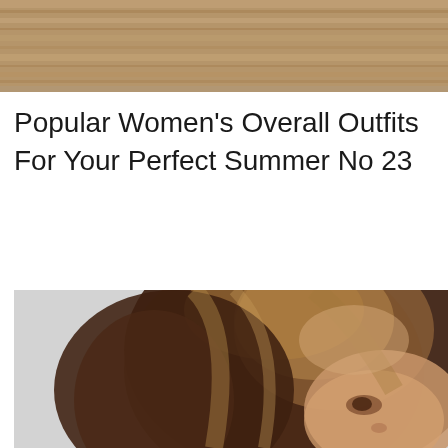[Figure (photo): Top portion of a photo showing a wooden surface or shelf, cropped at the top of the page. Occupies a horizontal band at the very top.]
Popular Women's Overall Outfits For Your Perfect Summer No 23
[Figure (photo): Close-up photo of a young woman with long brown and blonde highlighted hair, slightly blurred. Only the top portion of her face (from forehead to just below the eyes/nose area) and her hair are visible. The background is a light grey/white wall.]